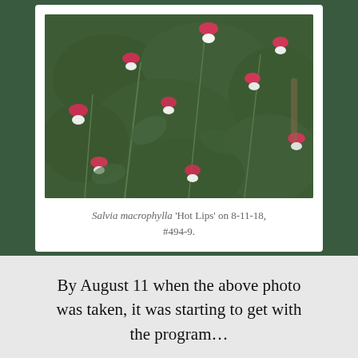[Figure (photo): Photo of Salvia macrophylla 'Hot Lips' plant with bright pink and white flowers against dark green foliage, taken on 8-11-18.]
Salvia macrophylla 'Hot Lips' on 8-11-18, #494-9.
By August 11 when the above photo was taken, it was starting to get with the program...